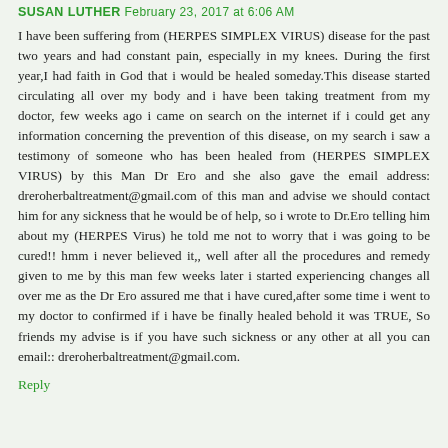SUSAN LUTHER February 23, 2017 at 6:06 AM
I have been suffering from (HERPES SIMPLEX VIRUS) disease for the past two years and had constant pain, especially in my knees. During the first year,I had faith in God that i would be healed someday.This disease started circulating all over my body and i have been taking treatment from my doctor, few weeks ago i came on search on the internet if i could get any information concerning the prevention of this disease, on my search i saw a testimony of someone who has been healed from (HERPES SIMPLEX VIRUS) by this Man Dr Ero and she also gave the email address: dreroherbaltreatment@gmail.com of this man and advise we should contact him for any sickness that he would be of help, so i wrote to Dr.Ero telling him about my (HERPES Virus) he told me not to worry that i was going to be cured!! hmm i never believed it,, well after all the procedures and remedy given to me by this man few weeks later i started experiencing changes all over me as the Dr Ero assured me that i have cured,after some time i went to my doctor to confirmed if i have be finally healed behold it was TRUE, So friends my advise is if you have such sickness or any other at all you can email:: dreroherbaltreatment@gmail.com.
Reply